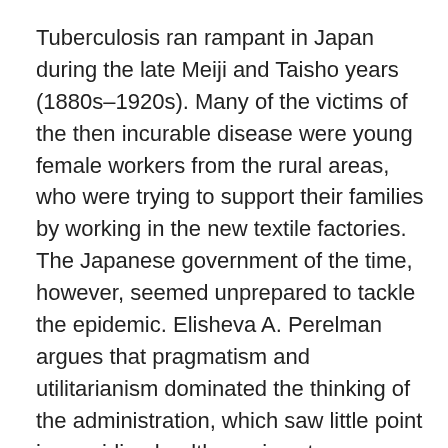Tuberculosis ran rampant in Japan during the late Meiji and Taisho years (1880s–1920s). Many of the victims of the then incurable disease were young female workers from the rural areas, who were trying to support their families by working in the new textile factories. The Japanese government of the time, however, seemed unprepared to tackle the epidemic. Elisheva A. Perelman argues that pragmatism and utilitarianism dominated the thinking of the administration, which saw little point in providing health services to a group of politically insignificant patients.
This created a space for American evangelical organizations to offer their services. Perelman sees the relationship between the Japanese government and the evangelists as one of moral entrepreneurship on both sides. All the parties involved were trying to occupy the